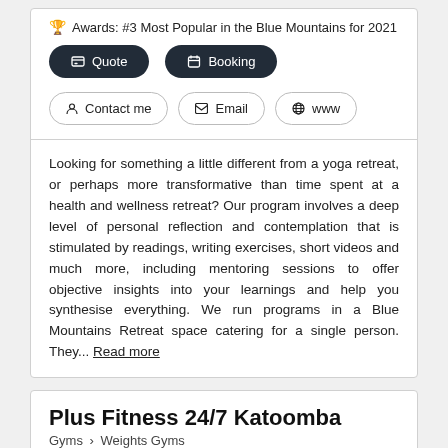🏆 Awards: #3 Most Popular in the Blue Mountains for 2021
Quote | Booking buttons
Contact me | Email | www buttons
Looking for something a little different from a yoga retreat, or perhaps more transformative than time spent at a health and wellness retreat? Our program involves a deep level of personal reflection and contemplation that is stimulated by readings, writing exercises, short videos and much more, including mentoring sessions to offer objective insights into your learnings and help you synthesise everything. We run programs in a Blue Mountains Retreat space catering for a single person. They... Read more
Plus Fitness 24/7 Katoomba
Gyms > Weights Gyms